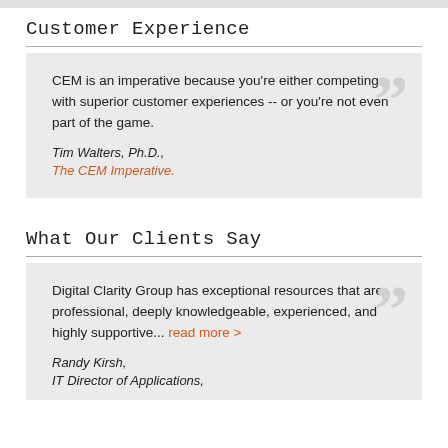Customer Experience
CEM is an imperative because you're either competing with superior customer experiences -- or you're not even part of the game.

Tim Walters, Ph.D.,
The CEM Imperative.
What Our Clients Say
Digital Clarity Group has exceptional resources that are professional, deeply knowledgeable, experienced, and highly supportive... read more >

Randy Kirsh,
IT Director of Applications